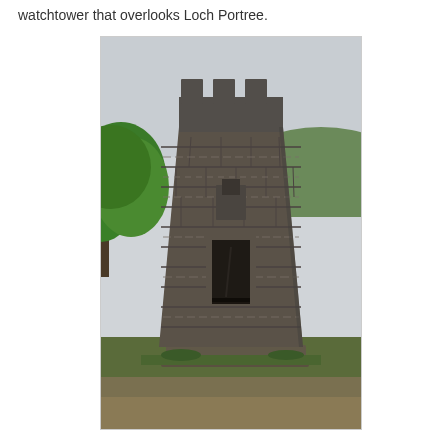watchtower that overlooks Loch Portree.
[Figure (photo): A stone watchtower with castellated battlements at the top, constructed from dark rough-cut stone blocks. The tower is roughly cylindrical/octagonal, wider at the base. A rectangular window opening is visible in the middle section, open to the interior. Green trees are visible to the left and hills in the background. Grass and gravel are visible at the base. The photo is taken from a low angle looking up at the tower.]